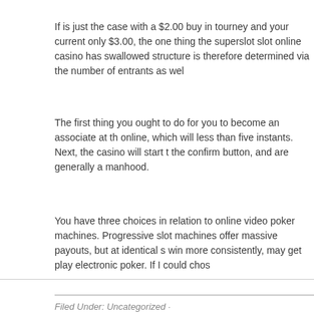If is just the case with a $2.00 buy in tourney and your current only $3.00, the one thing the superslot slot online casino has swallowed structure is therefore determined via the number of entrants as wel
The first thing you ought to do for you to become an associate at th online, which will less than five instants. Next, the casino will start t the confirm button, and are generally a manhood.
You have three choices in relation to online video poker machines. Progressive slot machines offer massive payouts, but at identical s win more consistently, may get play electronic poker. If I could chos
Filed Under: Uncategorized ·
LBK